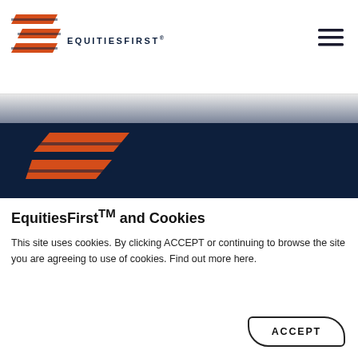[Figure (logo): EquitiesFirst logo with orange chevron/stripe mark and dark navy text reading EQUITIESFIRST with registered trademark symbol]
[Figure (other): Hamburger menu icon (three horizontal dark lines) in top right corner]
[Figure (other): Dark navy blue background section with a large orange EquitiesFirst logo mark (chevron/stripe shape) partially visible]
EquitiesFirst™ and Cookies
This site uses cookies. By clicking ACCEPT or continuing to browse the site you are agreeing to use of cookies. Find out more here.
ACCEPT